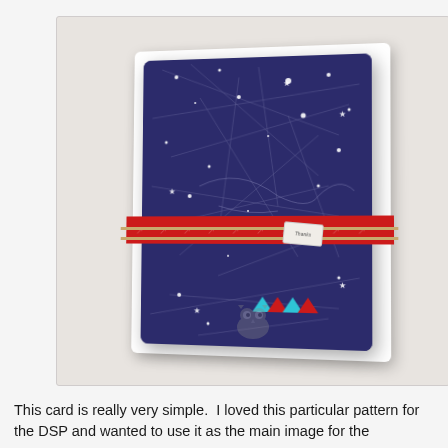[Figure (photo): A handcrafted greeting card with a dark navy blue background featuring white constellation/star map pattern. The card has a red ribbon and twine wrapped around it, with a small tag that reads 'thanks'. The card is propped up against a light background. A watermark with an owl logo is visible at the bottom of the photo.]
This card is really very simple.  I loved this particular pattern for the DSP and wanted to use it as the main image for the